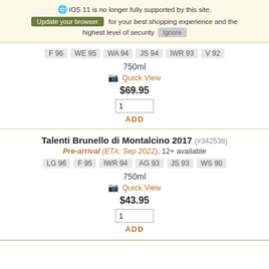iOS 11 is no longer fully supported by this site. Update your browser for your best shopping experience and the highest level of security. Ignore.
F 96  WE 95  WA 94  JS 94  IWR 93  V 92
750ml
Quick View
$69.95
1  ADD
Talenti Brunello di Montalcino 2017 (#342538)
Pre-arrival (ETA: Sep 2022), 12+ available
LG 96  F 95  IWR 94  AG 93  JS 93  WS 90
750ml
Quick View
$43.95
1  ADD